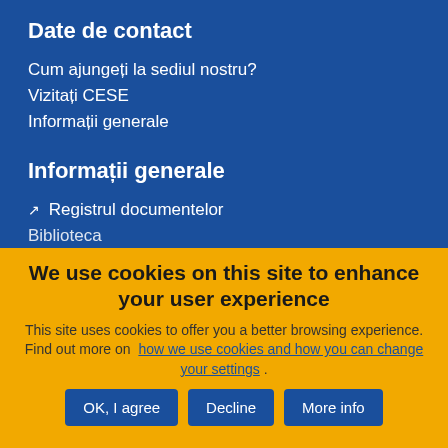Date de contact
Cum ajungeți la sediul nostru?
Vizitați CESE
Informații generale
Informații generale
↗ Registrul documentelor
Biblioteca
We use cookies on this site to enhance your user experience
This site uses cookies to offer you a better browsing experience. Find out more on  how we use cookies and how you can change your settings .